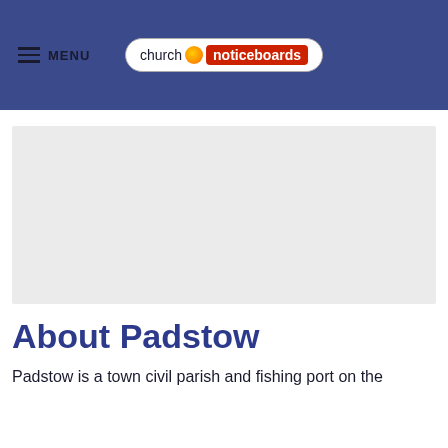MENU | church noticeboards
[Figure (photo): A large grey placeholder image area for a church or town photograph]
About Padstow
Padstow is a town civil parish and fishing port on the